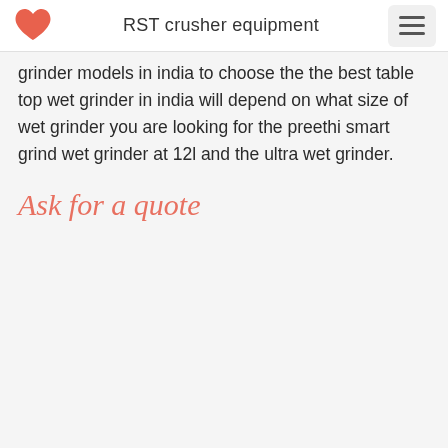RST crusher equipment
grinder models in india to choose the the best table top wet grinder in india will depend on what size of wet grinder you are looking for the preethi smart grind wet grinder at 12l and the ultra wet grinder.
Ask for a quote